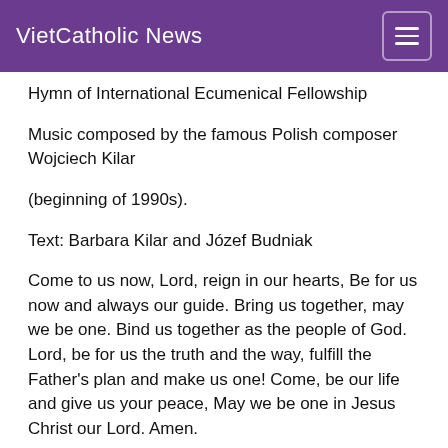VietCatholic News
Hymn of International Ecumenical Fellowship
Music composed by the famous Polish composer Wojciech Kilar
(beginning of 1990s).
Text: Barbara Kilar and Józef Budniak
Come to us now, Lord, reign in our hearts, Be for us now and always our guide. Bring us together, may we be one. Bind us together as the people of God. Lord, be for us the truth and the way, fulfill the Father's plan and make us one! Come, be our life and give us your peace, May we be one in Jesus Christ our Lord. Amen.
Amen.
INFORMATION ABOUT POLAND
THE ECUMENICAL CONTEXT